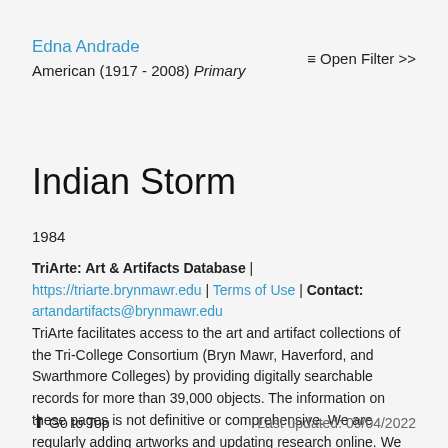Edna Andrade
American (1917 - 2008) Primary
≡ Open Filter >>
Indian Storm
1984
TriArte: Art & Artifacts Database | https://triarte.brynmawr.edu | Terms of Use | Contact: artandartifacts@brynmawr.edu
TriArte facilitates access to the art and artifact collections of the Tri-College Consortium (Bryn Mawr, Haverford, and Swarthmore Colleges) by providing digitally searchable records for more than 39,000 objects. The information on these pages is not definitive or comprehensive. We are regularly adding artworks and updating research online. We welcome your comments.
⬆ Go to Top    Last updated: 09/04/2022